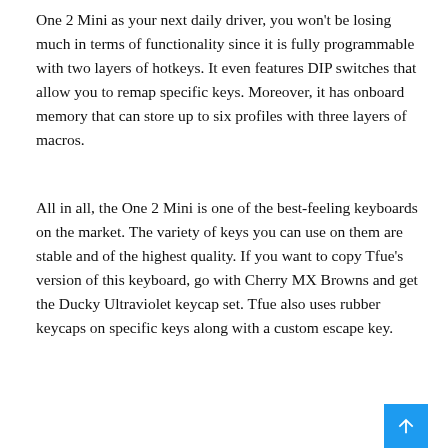One 2 Mini as your next daily driver, you won't be losing much in terms of functionality since it is fully programmable with two layers of hotkeys. It even features DIP switches that allow you to remap specific keys. Moreover, it has onboard memory that can store up to six profiles with three layers of macros.
All in all, the One 2 Mini is one of the best-feeling keyboards on the market. The variety of keys you can use on them are stable and of the highest quality. If you want to copy Tfue's version of this keyboard, go with Cherry MX Browns and get the Ducky Ultraviolet keycap set. Tfue also uses rubber keycaps on specific keys along with a custom escape key.
[Figure (screenshot): Embedded tweet from @Tfue showing 'New Keyboard twitch.tv/tfue' with profile picture, verified checkmark, Follow button, and Twitter bird logo.]